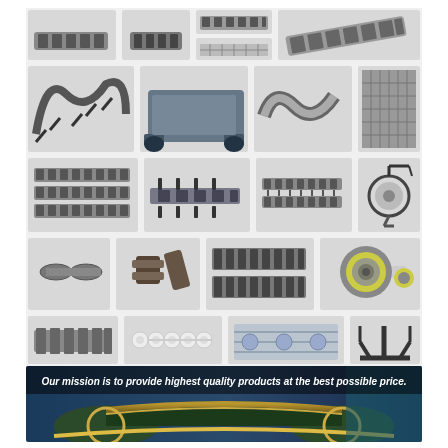[Figure (photo): Collage of industrial chain and sprocket products including roller chains, conveyor chains, engineering chains, chain tensioners, and related hardware components arranged in a grid layout. Bottom banner shows chain conveyor system in industrial setting.]
Our mission is to provide highest quality products at the best possible price.